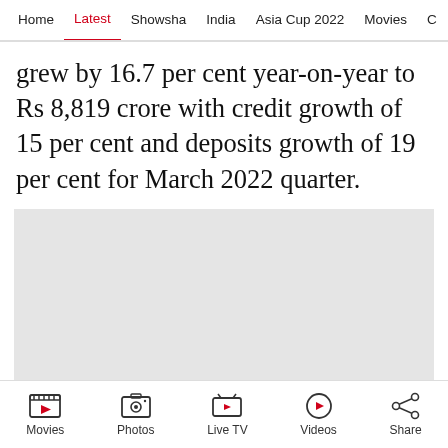Home  Latest  Showsha  India  Asia Cup 2022  Movies  C
grew by 16.7 per cent year-on-year to Rs 8,819 crore with credit growth of 15 per cent and deposits growth of 19 per cent for March 2022 quarter.
[Figure (other): Advertisement placeholder (grey rectangle) with X close button]
Movies  Photos  Live TV  Videos  Share